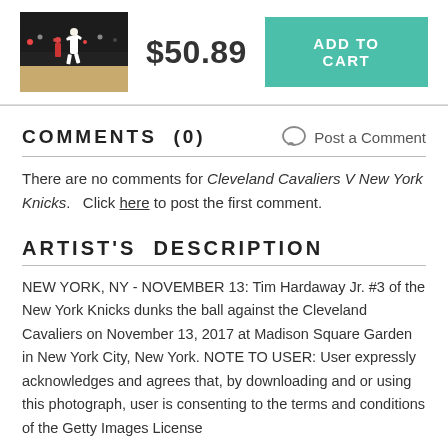[Figure (photo): Basketball game action photo showing player dunking]
$50.89
ADD TO CART
COMMENTS  (0)
Post a Comment
There are no comments for Cleveland Cavaliers V New York Knicks.   Click here to post the first comment.
ARTIST'S  DESCRIPTION
NEW YORK, NY - NOVEMBER 13: Tim Hardaway Jr. #3 of the New York Knicks dunks the ball against the Cleveland Cavaliers on November 13, 2017 at Madison Square Garden in New York City, New York. NOTE TO USER: User expressly acknowledges and agrees that, by downloading and or using this photograph, user is consenting to the terms and conditions of the Getty Images License Agreement. Mandatory Copyright Notice: Copyright 2017 NBAE